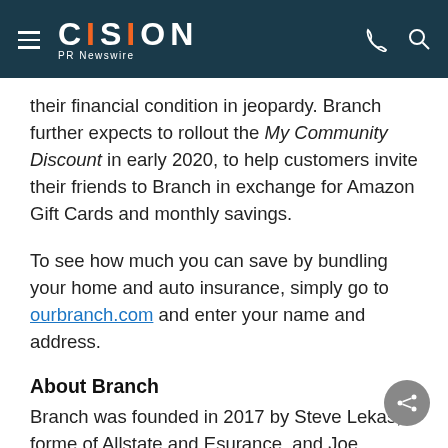CISION PR Newswire
their financial condition in jeopardy. Branch further expects to rollout the My Community Discount in early 2020, to help customers invite their friends to Branch in exchange for Amazon Gift Cards and monthly savings.
To see how much you can save by bundling your home and auto insurance, simply go to ourbranch.com and enter your name and address.
About Branch
Branch was founded in 2017 by Steve Lekas, formerly of Allstate and Esurance, and Joe Emison, founder of